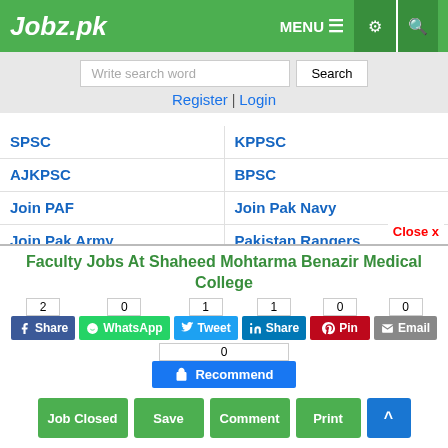Jobz.pk
Write search word | Search | Register | Login
SPSC | KPPSC
AJKPSC | BPSC
Join PAF | Join Pak Navy
Join Pak Army | Pakistan Rangers
Police | Punjab Police
Sindh Police | KPK Police
Balochistan Police | ISI
FIA | FBR
Faculty Jobs At Shaheed Mohtarma Benazir Medical College
Share: 2 | WhatsApp: 0 | Tweet: 1 | Share (LinkedIn): 1 | Pin: 0 | Email: 0 | Recommend: 0
Job Closed | Save | Comment | Print | ^ (scroll up)